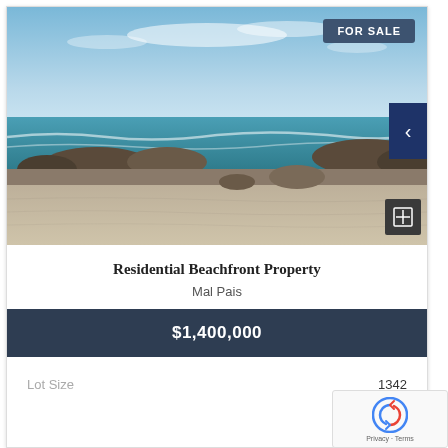[Figure (photo): Beachfront property photo showing sandy beach with rocky shoreline and ocean with blue sky]
Residential Beachfront Property
Mal Pais
$1,400,000
Lot Size
1342